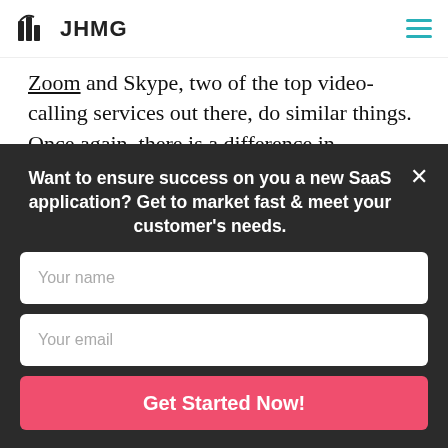JHMG
Zoom and Skype, two of the top video-calling services out there, do similar things. Once again, there is a difference in audience, where Zoom caters more to businesses and Skype is more well-known due to its longevity. Zoom plays heavily to the efficiency gap for businesses by [having] preset meetings
by Convertful
Want to ensure success on you a new SaaS application? Get to market fast & meet your customer's needs.
Your name
Your email
Get Started Now!